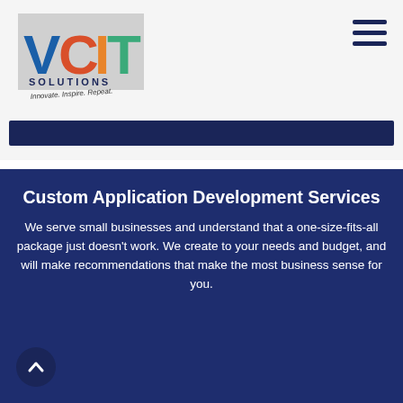[Figure (logo): VCIT Solutions logo with colored letters V, C, I, T and tagline 'Innovate. Inspire. Repeat.']
Custom Application Development Services
We serve small businesses and understand that a one-size-fits-all package just doesn't work. We create to your needs and budget, and will make recommendations that make the most business sense for you.